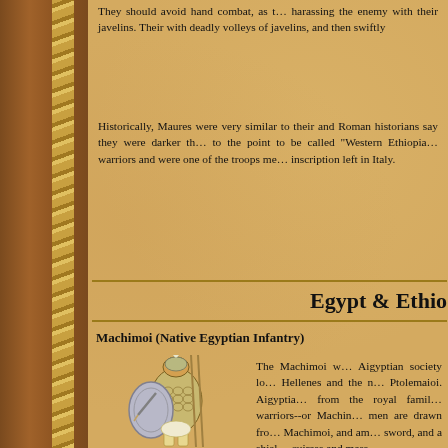They should avoid hand combat, as they are best employed harassing the enemy with their javelins. Their role is to strike with deadly volleys of javelins, and then swiftly...
Historically, Maures were very similar to their Numidian kin, and Roman historians say they were darker than the Numidians to the point to be called "Western Ethiopians". They were fierce warriors and were one of the troops mentioned in an inscription left in Italy.
Egypt & Ethio...
Machimoi (Native Egyptian Infantry)
[Figure (illustration): A Machimoi native Egyptian infantry soldier wearing a helmet, scale/lamellar armor, holding a sword and a large oval shield, with spears visible behind.]
The Machimoi were Aigyptian society lo... Hellenes and the n... Ptolemaioi. Aigyptia... from the royal famil... warriors--or Machin... men are drawn fro... Machimoi, and am... sword, and a shiel... cuirass and mass-...